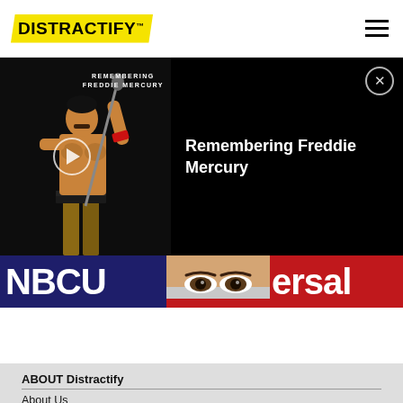DISTRACTIFY
[Figure (screenshot): Video player banner showing Remembering Freddie Mercury with thumbnail of Freddie Mercury performing shirtless with microphone, play button overlay, and close button]
[Figure (photo): NBCUniversal banner image strip showing partial logo text and a person's eyes]
ABOUT Distractify
About Us
Privacy Policy
Terms of Use
DMCA